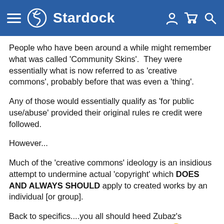Stardock
People who have been around a while might remember what was called 'Community Skins'.  They were essentially what is now referred to as 'creative commons', probably before that was even a 'thing'.
Any of those would essentially qualify as 'for public use/abuse' provided their original rules re credit were followed.
However...
Much of the 'creative commons' ideology is an insidious attempt to undermine actual 'copyright' which DOES AND ALWAYS SHOULD apply to created works by an individual [or group].
Back to specifics....you all should heed Zubaz's comments....more on the button than most...😉